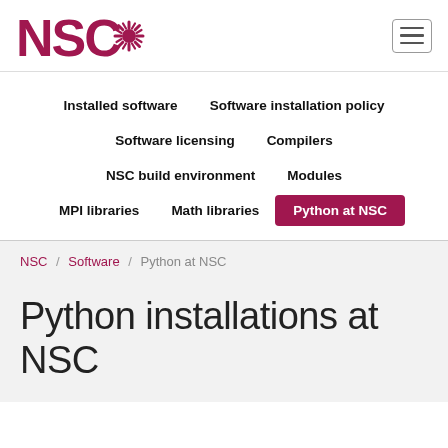NSC
Installed software
Software installation policy
Software licensing
Compilers
NSC build environment
Modules
MPI libraries
Math libraries
Python at NSC
NSC / Software / Python at NSC
Python installations at NSC